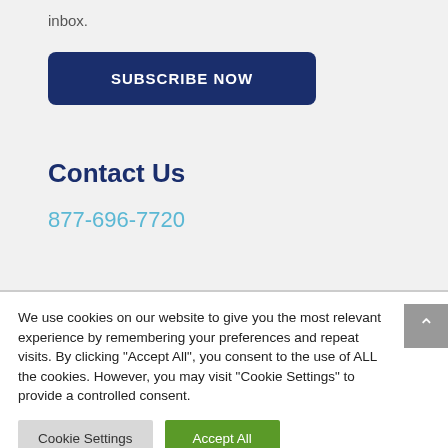inbox.
SUBSCRIBE NOW
Contact Us
877-696-7720
We use cookies on our website to give you the most relevant experience by remembering your preferences and repeat visits. By clicking "Accept All", you consent to the use of ALL the cookies. However, you may visit "Cookie Settings" to provide a controlled consent.
Cookie Settings
Accept All